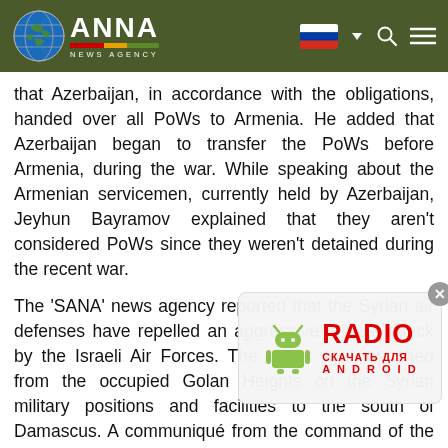ANNA NEWS AGENCY
that Azerbaijan, in accordance with the obligations, handed over all PoWs to Armenia. He added that Azerbaijan began to transfer the PoWs before Armenia, during the war. While speaking about the Armenian servicemen, currently held by Azerbaijan, Jeyhun Bayramov explained that they aren't considered PoWs since they weren't detained during the recent war.
The 'SANA' news agency reported that the Syrian air defenses have repelled an aggressive missile attack by the Israeli Air Forces. The attack was launched from the occupied Golan Heights on the Syrian military positions and facilities to the south of Damascus. A communiqué from the command of the Syrian troops stated that the Syrian air defenses «managed to repel the attack of the Israeli air forces, and hit most of the incoming missiles». It was noted that as a result of the attack by the Israeli Air Force only material damage took place. There were no casualties or injuries.
The deputy head of the Russian Center for Reconciliation of
[Figure (screenshot): Advertisement overlay: RADIO app download button for Android with robot icon]